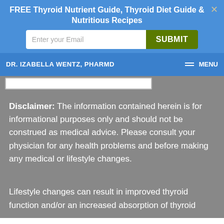FREE Thyroid Nutrient Guide, Thyroid Diet Guide & Nutritious Recipes
DR. IZABELLA WENTZ, PHARMD  MENU
Disclaimer: The information contained herein is for informational purposes only and should not be construed as medical advice. Please consult your physician for any health problems and before making any medical or lifestyle changes.
Lifestyle changes can result in improved thyroid function and/or an increased absorption of thyroid